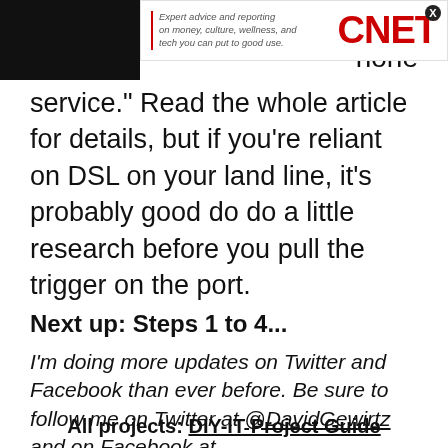[Figure (other): CNET advertisement banner with tagline 'Expert advice and reporting on money, culture, wellness, and tech you can put to good use.' and CNET logo in red]
many ... hone service." Read the whole article for details, but if you're reliant on DSL on your land line, it's probably good do do a little research before you pull the trigger on the port.
Next up: Steps 1 to 4...
I'm doing more updates on Twitter and Facebook than ever before. Be sure to follow me on Twitter at @DavidGewirtz and on Facebook at Facebook.com/DavidGewirtz.
All projects: DIY-IT Project Guide